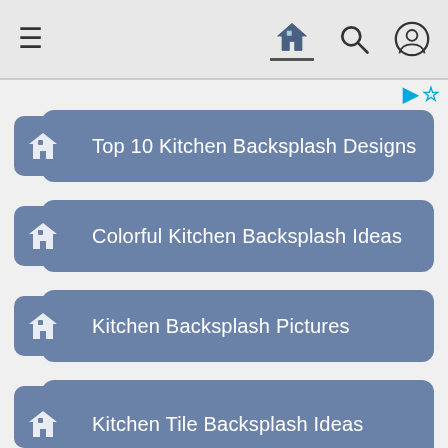Navigation bar with hamburger menu, home icon, search icon, and user icon
Top 10 Kitchen Backsplash Designs
Colorful Kitchen Backsplash Ideas
Kitchen Backsplash Pictures
Kitchen Backsplash Trends
Kitchen Tile Backsplash Ideas